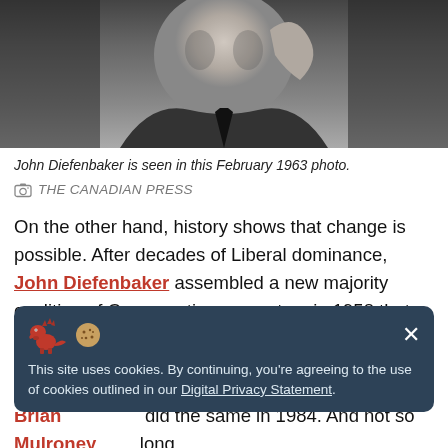[Figure (photo): Black and white photograph of John Diefenbaker, seen from shoulders up, wearing a suit and tie, February 1963 photo.]
John Diefenbaker is seen in this February 1963 photo.
THE CANADIAN PRESS
On the other hand, history shows that change is possible. After decades of Liberal dominance, John Diefenbaker assembled a new majority coalition of Conservative supporters in 1958 that differed from before. He combined rural Prairie ridings that had previously supported the Progressive Conservative and Social Credit
This site uses cookies. By continuing, you're agreeing to the use of cookies outlined in our Digital Privacy Statement.
Brian Mulroney did the same in 1984. And not so long